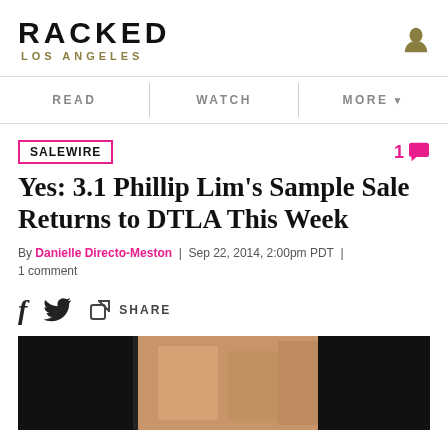RACKED LOS ANGELES
READ | WATCH | MORE
SALEWIRE
Yes: 3.1 Phillip Lim's Sample Sale Returns to DTLA This Week
By Danielle Directo-Meston | Sep 22, 2014, 2:00pm PDT | 1 comment
[Figure (photo): Close-up photo of dark clothing and tan/gold leather items from 3.1 Phillip Lim collection]